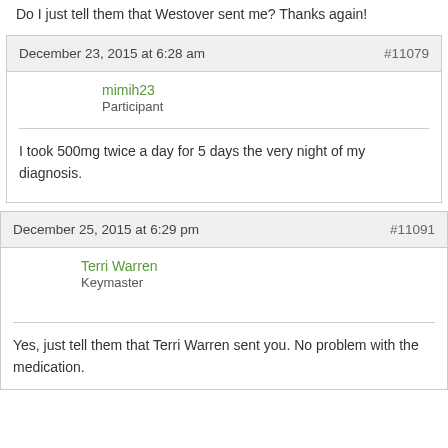Do I just tell them that Westover sent me? Thanks again!
December 23, 2015 at 6:28 am   #11079
mimih23
Participant
I took 500mg twice a day for 5 days the very night of my diagnosis.
December 25, 2015 at 6:29 pm   #11091
Terri Warren
Keymaster
Yes, just tell them that Terri Warren sent you. No problem with the medication.